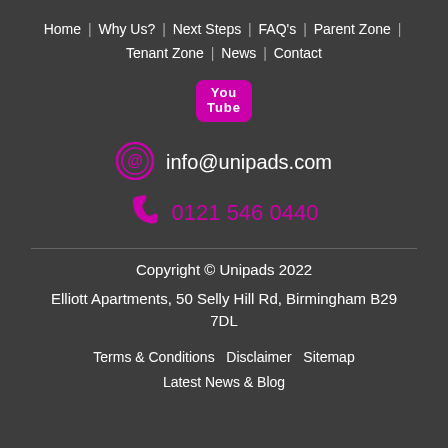Home | Why Us? | Next Steps | FAQ's | Parent Zone | Tenant Zone | News | Contact
[Figure (logo): YouTube logo icon in magenta/pink color with 'You' on top line and 'Tube' on bottom line inside a rounded rectangle]
info@unipads.com
0121 546 0440
Copyright © Unipads 2022
Elliott Apartments, 50 Selly Hill Rd, Birmingham B29 7DL
Terms & Conditions  Disclaimer  Sitemap  Latest News & Blog